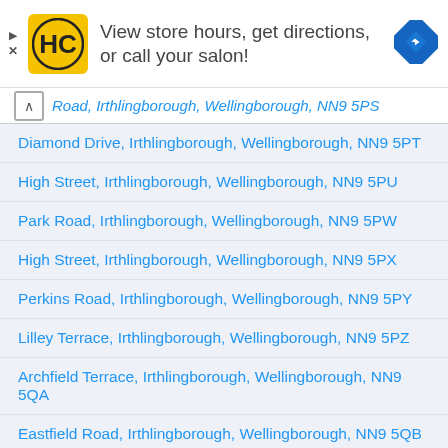[Figure (infographic): Advertisement banner for a hair salon chain (HC logo) with text 'View store hours, get directions, or call your salon!' and a blue navigation/directions diamond icon on the right. Close/collapse controls on the left.]
Road, Irthlingborough, Wellingborough, NN9 5PS (partially visible, collapsed)
Diamond Drive, Irthlingborough, Wellingborough, NN9 5PT
High Street, Irthlingborough, Wellingborough, NN9 5PU
Park Road, Irthlingborough, Wellingborough, NN9 5PW
High Street, Irthlingborough, Wellingborough, NN9 5PX
Perkins Road, Irthlingborough, Wellingborough, NN9 5PY
Lilley Terrace, Irthlingborough, Wellingborough, NN9 5PZ
Archfield Terrace, Irthlingborough, Wellingborough, NN9 5QA
Eastfield Road, Irthlingborough, Wellingborough, NN9 5QB
Station Road, Irthlingborough, Wellingborough, NN9 5QD
Station Road, Irthlingborough, Wellingborough, NN9 5QE
Station Road, Irthlingborough, Wellingborough, NN9 5QF